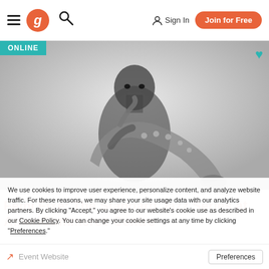Navigation bar with hamburger menu, Gigmit logo, search icon, Sign In button, Join for Free button
[Figure (photo): Black and white photo of a bald musician playing saxophone, looking intensely at camera. Gray gradient background.]
We use cookies to improve user experience, personalize content, and analyze website traffic. For these reasons, we may share your site usage data with our analytics partners. By clicking "Accept," you agree to our website's cookie use as described in our Cookie Policy. You can change your cookie settings at any time by clicking "Preferences."
Decline
Accept
Preferences
Online  Event Website  Preferences